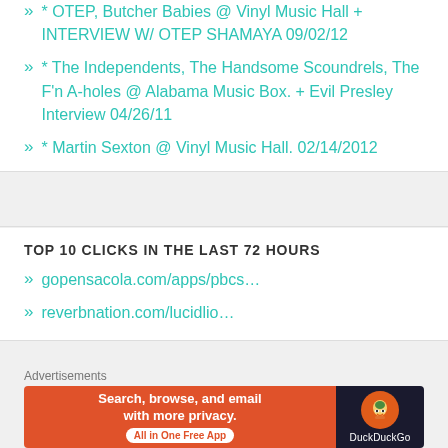* OTEP, Butcher Babies @ Vinyl Music Hall + INTERVIEW W/ OTEP SHAMAYA 09/02/12
* The Independents, The Handsome Scoundrels, The F'n A-holes @ Alabama Music Box. + Evil Presley Interview 04/26/11
* Martin Sexton @ Vinyl Music Hall. 02/14/2012
TOP 10 CLICKS IN THE LAST 72 HOURS
gopensacola.com/apps/pbcs…
reverbnation.com/lucidlio…
EMAIL SUBSCRIPTION
Advertisements
[Figure (infographic): DuckDuckGo advertisement banner: orange left side reading 'Search, browse, and email with more privacy. All in One Free App' and dark right side with DuckDuckGo duck logo]